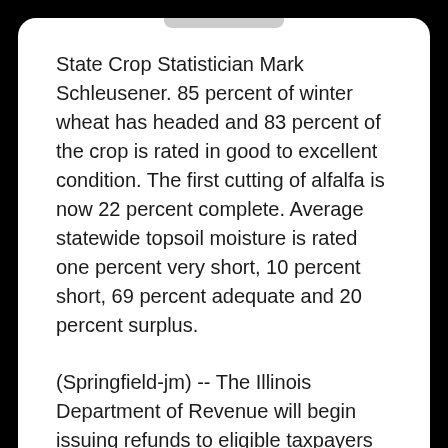State Crop Statistician Mark Schleusener. 85 percent of winter wheat has headed and 83 percent of the crop is rated in good to excellent condition. The first cutting of alfalfa is now 22 percent complete. Average statewide topsoil moisture is rated one percent very short, 10 percent short, 69 percent adequate and 20 percent surplus.
(Springfield-jm) -- The Illinois Department of Revenue will begin issuing refunds to eligible taxpayers who filed their 2020 Illinois Individual Income Tax Return prior to a newly enacted federal unemployment tax exemption. The American Rescue Plan Act of 2021 included a retroactive provision making the first $10,200 per taxpayer or up to $20,400 married, filing jointly of unemployment benefits nontaxable for returns with a modified Adjusted Gross Income of less than $150,000.